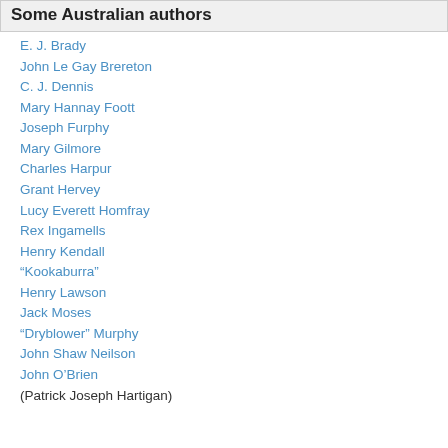Some Australian authors
E. J. Brady
John Le Gay Brereton
C. J. Dennis
Mary Hannay Foott
Joseph Furphy
Mary Gilmore
Charles Harpur
Grant Hervey
Lucy Everett Homfray
Rex Ingamells
Henry Kendall
“Kookaburra”
Henry Lawson
Jack Moses
“Dryblower” Murphy
John Shaw Neilson
John O’Brien (Patrick Joseph Hartigan)